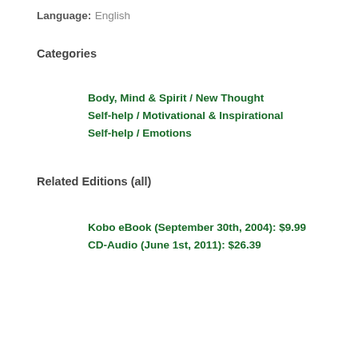Language: English
Categories
Body, Mind & Spirit / New Thought
Self-help / Motivational & Inspirational
Self-help / Emotions
Related Editions (all)
Kobo eBook (September 30th, 2004): $9.99
CD-Audio (June 1st, 2011): $26.39